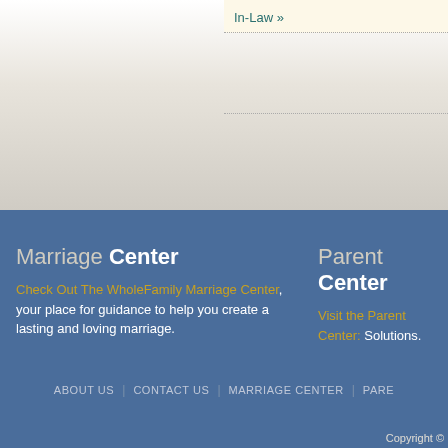In-Law »
Marriage Center
Check Out The WholeFamily Marriage Center, your place for guidance to help you create a lasting and loving marriage.
Parent Center
Visit the Parent Center: Solutions.
ABOUT US | CONTACT US | MARRIAGE CENTER | PARE
Copyright ©